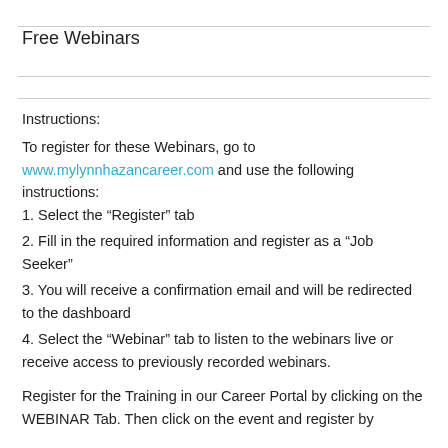Free Webinars
Instructions:
To register for these Webinars, go to www.mylynnhazancareer.com and use the following instructions:
1. Select the “Register” tab
2. Fill in the required information and register as a “Job Seeker”
3. You will receive a confirmation email and will be redirected to the dashboard
4. Select the “Webinar” tab to listen to the webinars live or receive access to previously recorded webinars.
Register for the Training in our Career Portal by clicking on the WEBINAR Tab. Then click on the event and register by